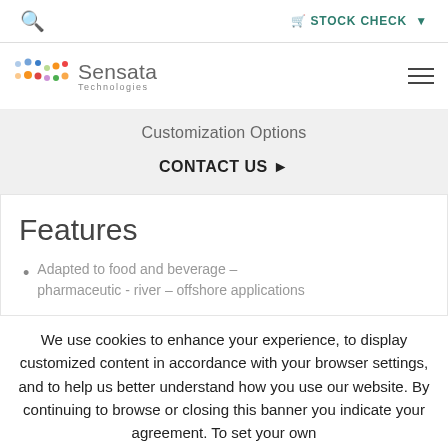🔍  🛒 STOCK CHECK ▼
[Figure (logo): Sensata Technologies logo with colorful dot grid and company name]
Customization Options
CONTACT US ▶
Features
Adapted to food and beverage – pharmaceutic - river – offshore applications
We use cookies to enhance your experience, to display customized content in accordance with your browser settings, and to help us better understand how you use our website. By continuing to browse or closing this banner you indicate your agreement. To set your own